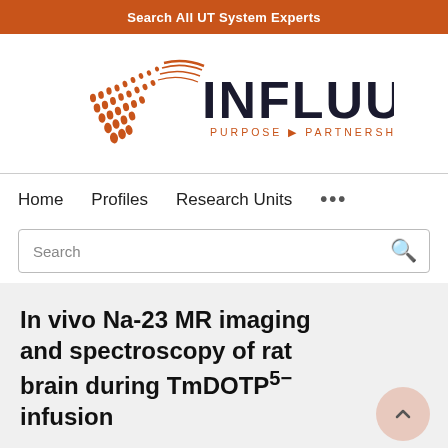Search All UT System Experts
[Figure (logo): Influuent logo with orange triangular dot-pattern graphic and text INFLUUENT PURPOSE PARTNERSHIP PROGRESS]
Home   Profiles   Research Units   ...
Search
In vivo Na-23 MR imaging and spectroscopy of rat brain during TmDOTP5− infusion